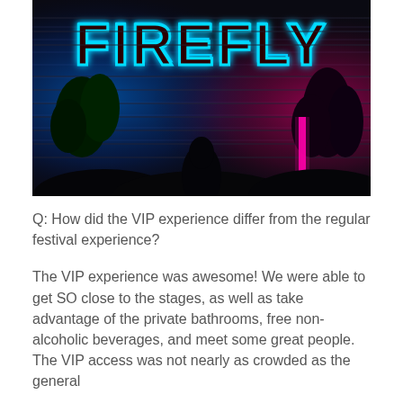[Figure (photo): A nighttime photo of a FIREFLY sign illuminated in neon/LED lights — large block letters lit in cyan/blue outline against a dark background. The scene shows silhouettes of people and plants below the sign, with blue lighting on the left and pink/magenta lighting on the right, horizontal ribbed wall panels visible in the background.]
Q: How did the VIP experience differ from the regular festival experience?
The VIP experience was awesome! We were able to get SO close to the stages, as well as take advantage of the private bathrooms, free non-alcoholic beverages, and meet some great people. The VIP access was not nearly as crowded as the general